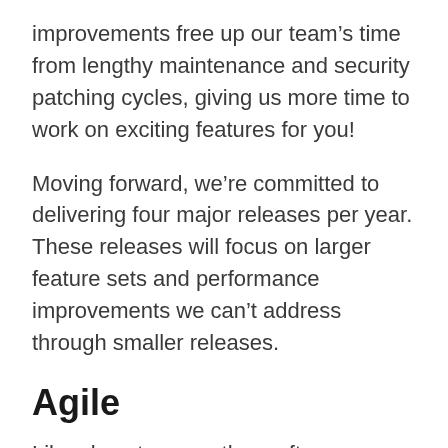improvements free up our team’s time from lengthy maintenance and security patching cycles, giving us more time to work on exciting features for you!
Moving forward, we’re committed to delivering four major releases per year. These releases will focus on larger feature sets and performance improvements we can’t address through smaller releases.
Agile
Like almost every other software development team on this planet, we’re